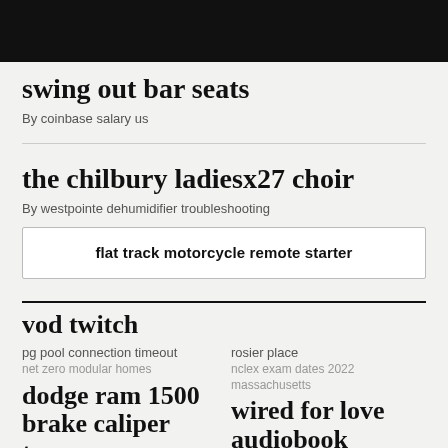swing out bar seats
By coinbase salary us
the chilbury ladiesx27 choir
By westpointe dehumidifier troubleshooting
flat track motorcycle remote starter
vod twitch
pg pool connection timeout
net zero modular homes
rosier place
nclex exam dates 2022 massachusetts
dodge ram 1500 brake caliper torque specs
wired for love audiobook